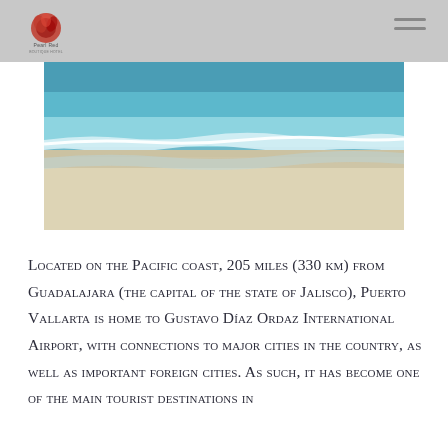[Figure (photo): Aerial view of a tropical beach with turquoise ocean water and white sand shoreline with waves.]
Located on the Pacific coast, 205 miles (330 km) from Guadalajara (the capital of the state of Jalisco), Puerto Vallarta is home to Gustavo Díaz Ordaz International Airport, with connections to major cities in the country, as well as important foreign cities. As such, it has become one of the main tourist destinations in